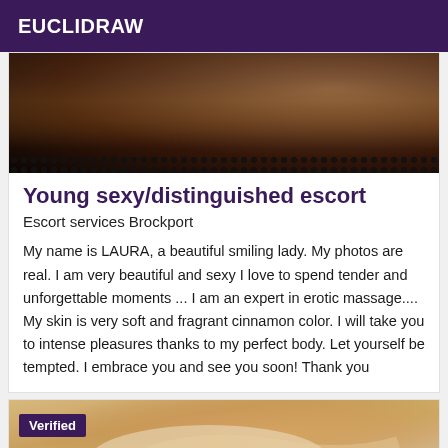EUCLIDRAW
[Figure (photo): Close-up photo showing skin/body in dark tones with decorative dot pattern at bottom edge]
Young sexy/distinguished escort
Escort services Brockport
My name is LAURA, a beautiful smiling lady. My photos are real. I am very beautiful and sexy I love to spend tender and unforgettable moments ... I am an expert in erotic massage.... My skin is very soft and fragrant cinnamon color. I will take you to intense pleasures thanks to my perfect body. Let yourself be tempted. I embrace you and see you soon! Thank you
[Figure (photo): Photo showing skin/body with yellow fabric, partially visible, with 'Verified' badge overlay in purple]
Verified